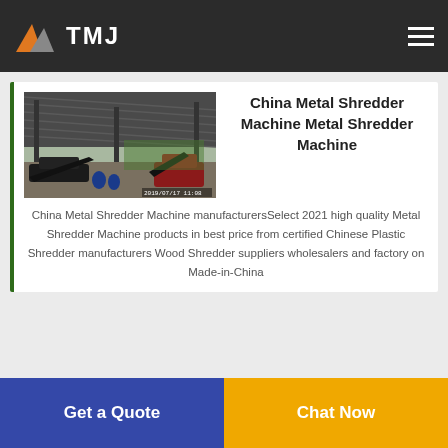TMJ
[Figure (photo): Industrial metal shredder machine under a large corrugated roof shed, with conveyor belts and equipment visible, outdoor industrial setting]
China Metal Shredder Machine Metal Shredder Machine
China Metal Shredder Machine manufacturersSelect 2021 high quality Metal Shredder Machine products in best price from certified Chinese Plastic Shredder manufacturers Wood Shredder suppliers wholesalers and factory on Made-in-China
Get a Quote
Chat Now